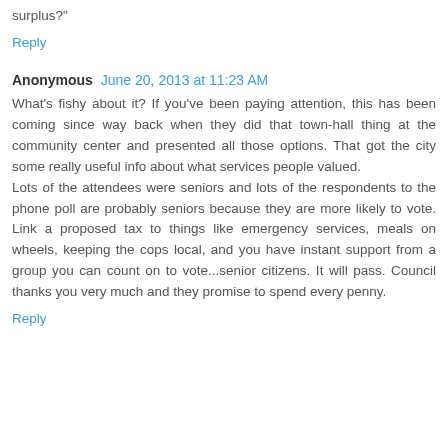surplus?"
Reply
Anonymous  June 20, 2013 at 11:23 AM
What's fishy about it? If you've been paying attention, this has been coming since way back when they did that town-hall thing at the community center and presented all those options. That got the city some really useful info about what services people valued.
Lots of the attendees were seniors and lots of the respondents to the phone poll are probably seniors because they are more likely to vote. Link a proposed tax to things like emergency services, meals on wheels, keeping the cops local, and you have instant support from a group you can count on to vote...senior citizens. It will pass. Council thanks you very much and they promise to spend every penny.
Reply